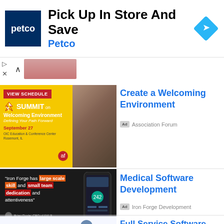[Figure (screenshot): Petco advertisement banner: 'Pick Up In Store And Save' with Petco logo (dark blue background, white text) on left, navigation diamond icon on right]
[Figure (screenshot): Association Forum Summit on Welcoming Environment ad. Left side shows event graphic with yellow background, red 'VIEW SCHEDULE' button, Summit branding, September 27 date, OIC Education & Conference Center, Rosemont IL. Right side shows photo of conference attendees.]
Create a Welcoming Environment
Ad  Association Forum
[Figure (screenshot): Iron Forge Development ad. Black background with white text quote: 'Iron Forge has large scale skill and small team dedication and attentiveness' - Brian Doyle, CEO of 6XLS. Right side shows mobile app mockup.]
Medical Software Development
Ad  Iron Forge Development
[Figure (screenshot): ShareNote ad with illustration of person standing next to document/software interface icons]
Full Service Software
Ad  ShareNote